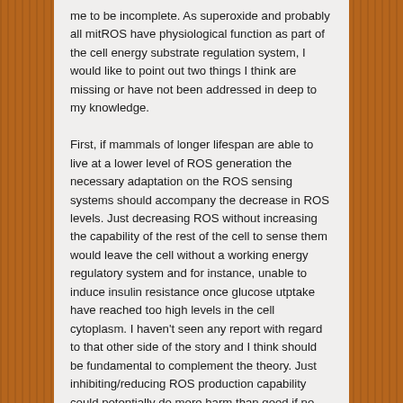me to be incomplete. As superoxide and probably all mitROS have physiological function as part of the cell energy substrate regulation system, I would like to point out two things I think are missing or have not been addressed in deep to my knowledge.
First, if mammals of longer lifespan are able to live at a lower level of ROS generation the necessary adaptation on the ROS sensing systems should accompany the decrease in ROS levels. Just decreasing ROS without increasing the capability of the rest of the cell to sense them would leave the cell without a working energy regulatory system and for instance, unable to induce insulin resistance once glucose utptake have reached too high levels in the cell cytoplasm. I haven't seen any report with regard to that other side of the story and I think should be fundamental to complement the theory. Just inhibiting/reducing ROS production capability could potentially do more harm than good if no improvement in other